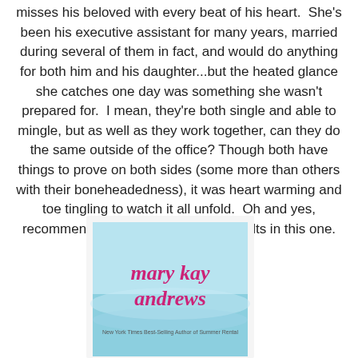misses his beloved with every beat of his heart.  She's been his executive assistant for many years, married during several of them in fact, and would do anything for both him and his daughter...but the heated glance she catches one day was something she wasn't prepared for.  I mean, they're both single and able to mingle, but as well as they work together, can they do the same outside of the office?  Though both have things to prove on both sides (some more than others with their boneheadedness), it was heart warming and toe tingling to watch it all unfold.  Oh and yes, recommended audience would be adults in this one.
[Figure (photo): Book cover for a Mary Kay Andrews novel, showing ocean/beach background with the author name 'mary kay andrews' in pink text, and smaller text below reading 'New York Times Best-Selling Author of Summer Rental']